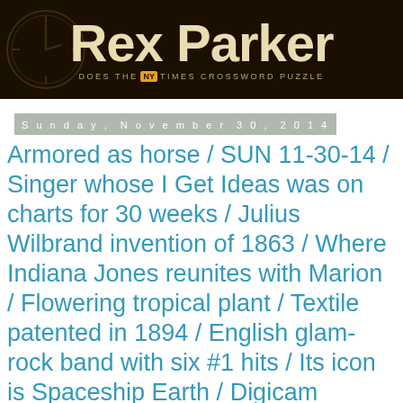[Figure (logo): Rex Parker Does the NY Times Crossword Puzzle banner with dark brown background and large cream-colored title text]
Sunday, November 30, 2014
Armored as horse / SUN 11-30-14 / Singer whose I Get Ideas was on charts for 30 weeks / Julius Wilbrand invention of 1863 / Where Indiana Jones reunites with Marion / Flowering tropical plant / Textile patented in 1894 / English glam-rock band with six #1 hits / Its icon is Spaceship Earth / Digicam component
Constructor: Matt Ginsberg